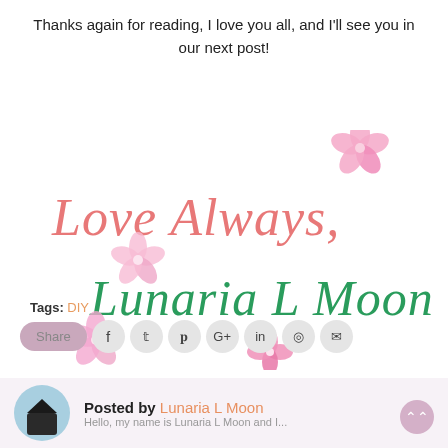Thanks again for reading, I love you all, and I'll see you in our next post!
[Figure (illustration): Decorative script signature reading 'Love Always, Lunaria L Moon' with pink flower decorations on white background]
Tags: DIY
[Figure (infographic): Social share buttons: Share, Facebook, Twitter, Pinterest, Google+, LinkedIn, WhatsApp, Email]
Posted by Lunaria L Moon